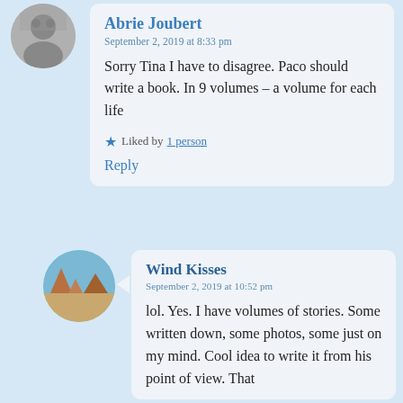[Figure (photo): Circular avatar of Abrie Joubert — grayscale photo of a person]
Abrie Joubert
September 2, 2019 at 8:33 pm
Sorry Tina I have to disagree. Paco should write a book. In 9 volumes – a volume for each life
★ Liked by 1 person
Reply
[Figure (photo): Circular avatar of Wind Kisses — landscape photo showing desert buttes (Monument Valley)]
Wind Kisses
September 2, 2019 at 10:52 pm
lol. Yes. I have volumes of stories. Some written down, some photos, some just on my mind. Cool idea to write it from his point of view. That